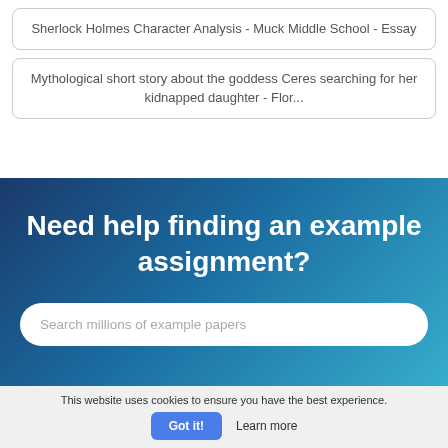Sherlock Holmes Character Analysis - Muck Middle School - Essay
Mythological short story about the goddess Ceres searching for her kidnapped daughter - Flor...
Need help finding an example assignment?
Search millions of example papers
This website uses cookies to ensure you have the best experience.
Got it!
Learn more